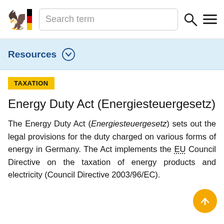Search term [search icon] [menu icon]
Resources
TAXATION
Energy Duty Act (Energiesteuergesetz)
The Energy Duty Act (Energiesteuergesetz) sets out the legal provisions for the duty charged on various forms of energy in Germany. The Act implements the EU Council Directive on the taxation of energy products and electricity (Council Directive 2003/96/EC).